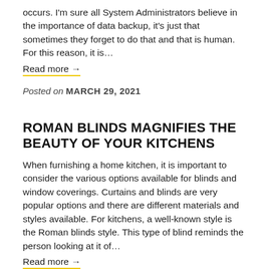occurs. I'm sure all System Administrators believe in the importance of data backup, it's just that sometimes they forget to do that and that is human. For this reason, it is…
Read more →
Posted on MARCH 29, 2021
ROMAN BLINDS MAGNIFIES THE BEAUTY OF YOUR KITCHENS
When furnishing a home kitchen, it is important to consider the various options available for blinds and window coverings. Curtains and blinds are very popular options and there are different materials and styles available. For kitchens, a well-known style is the Roman blinds style. This type of blind reminds the person looking at it of…
Read more →